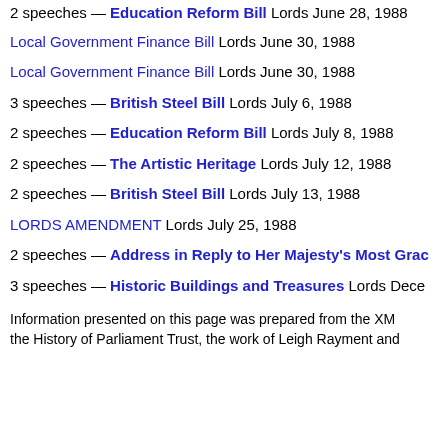2 speeches — Education Reform Bill Lords June 28, 1988
Local Government Finance Bill Lords June 30, 1988
Local Government Finance Bill Lords June 30, 1988
3 speeches — British Steel Bill Lords July 6, 1988
2 speeches — Education Reform Bill Lords July 8, 1988
2 speeches — The Artistic Heritage Lords July 12, 1988
2 speeches — British Steel Bill Lords July 13, 1988
LORDS AMENDMENT Lords July 25, 1988
2 speeches — Address in Reply to Her Majesty's Most Grac…
3 speeches — Historic Buildings and Treasures Lords Dece…
Information presented on this page was prepared from the XM… the History of Parliament Trust, the work of Leigh Rayment and…